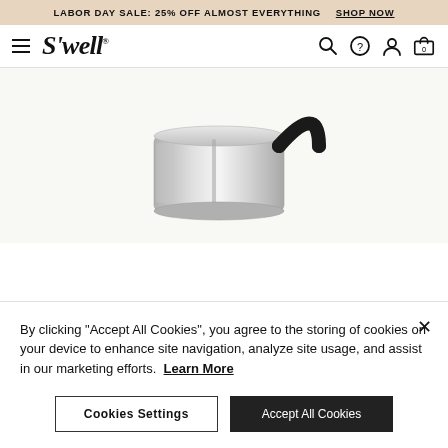LABOR DAY SALE: 25% OFF ALMOST EVERYTHING  SHOP NOW
[Figure (logo): S'well brand logo with hamburger menu icon and navigation icons (search, help, account, cart with 0 items)]
[Figure (photo): S'well product photo: a stainless steel bottle lid/cap with a black loop handle, shown on a light beige/cream background]
By clicking “Accept All Cookies”, you agree to the storing of cookies on your device to enhance site navigation, analyze site usage, and assist in our marketing efforts.  Learn More
Cookies Settings    Accept All Cookies